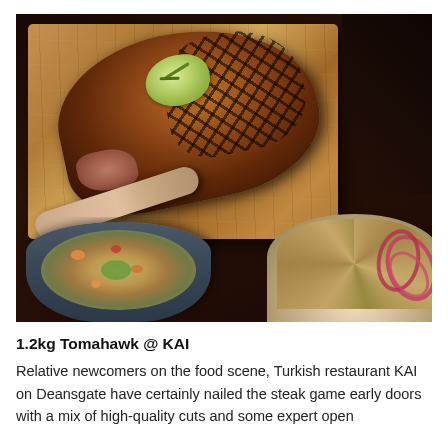[Figure (photo): Overhead shot of a large grilled tomahawk steak with herb butter on a wooden cutting board, surrounded by a bowl of grain salad and a plate of crumble with red onion rings, on a dark wooden table.]
1.2kg Tomahawk @ KAI
Relative newcomers on the food scene, Turkish restaurant KAI on Deansgate have certainly nailed the steak game early doors with a mix of high-quality cuts and some expert open